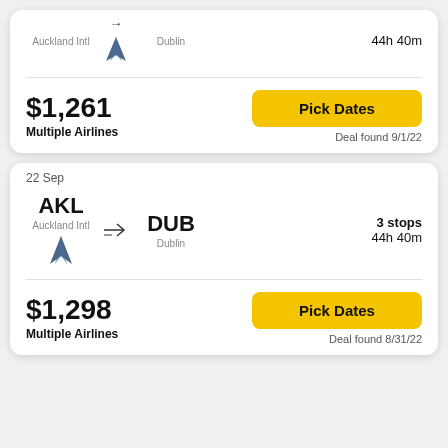Auckland Intl → Dublin | 44h 40m | $1,261 | Multiple Airlines | Pick Dates | Deal found 9/1/22
22 Sep | AKL → DUB | Auckland Intl → Dublin | 3 stops | 44h 40m | $1,298 | Multiple Airlines | Pick Dates | Deal found 8/31/22